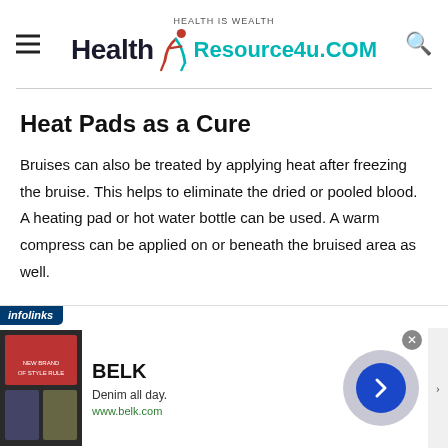HEALTH IS WEALTH | Health Resource4u.COM
Heat Pads as a Cure
Bruises can also be treated by applying heat after freezing the bruise. This helps to eliminate the dried or pooled blood. A heating pad or hot water bottle can be used. A warm compress can be applied on or beneath the bruised area as well.
[Figure (screenshot): Infolinks advertisement banner for BELK featuring 'Denim all day.' tagline and www.belk.com URL]